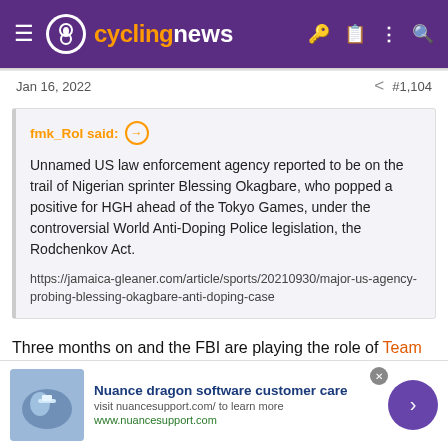cyclingnews
Jan 16, 2022   #1,104
fmk_RoI said: ⊕

Unnamed US law enforcement agency reported to be on the trail of Nigerian sprinter Blessing Okagbare, who popped a positive for HGH ahead of the Tokyo Games, under the controversial World Anti-Doping Police legislation, the Rodchenkov Act.

https://jamaica-gleaner.com/article/sports/20210930/major-us-agency-probing-blessing-okagbare-anti-doping-case
Three months on and the FBI are playing the role of Team America, World Police:
Nuance dragon software customer care
visit nuancesupport.com/ to learn more
www.nuancesupport.com